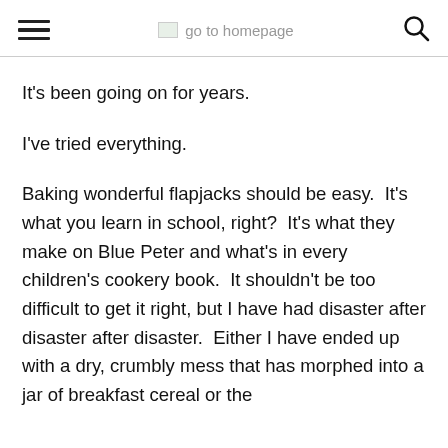go to homepage
It's been going on for years.
I've tried everything.
Baking wonderful flapjacks should be easy.  It's what you learn in school, right?  It's what they make on Blue Peter and what's in every children's cookery book.  It shouldn't be too difficult to get it right, but I have had disaster after disaster after disaster.  Either I have ended up with a dry, crumbly mess that has morphed into a jar of breakfast cereal or the